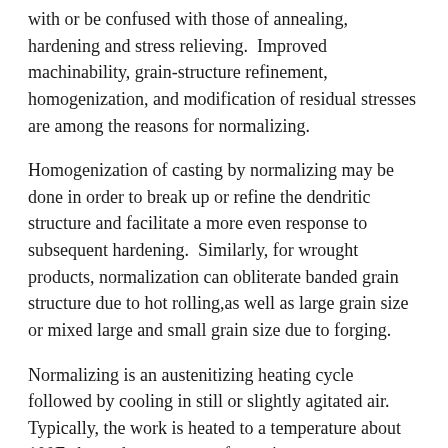with or be confused with those of annealing, hardening and stress relieving.  Improved machinability, grain-structure refinement, homogenization, and modification of residual stresses are among the reasons for normalizing.
Homogenization of casting by normalizing may be done in order to break up or refine the dendritic structure and facilitate a more even response to subsequent hardening.  Similarly, for wrought products, normalization can obliterate banded grain structure due to hot rolling,as well as large grain size or mixed large and small grain size due to forging.
Normalizing is an austenitizing heating cycle followed by cooling in still or slightly agitated air.  Typically, the work is heated to a temperature about 100F above the upper transformation temperature.  The heating portion must produce an austenitic phase prior to cooling.  This requires holding the temperature for